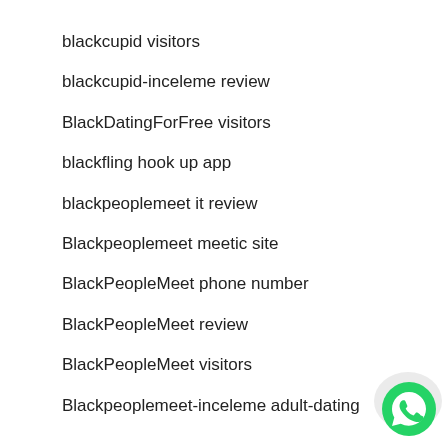blackcupid visitors
blackcupid-inceleme review
BlackDatingForFree visitors
blackfling hook up app
blackpeoplemeet it review
Blackpeoplemeet meetic site
BlackPeopleMeet phone number
BlackPeopleMeet review
BlackPeopleMeet visitors
Blackpeoplemeet-inceleme adult-dating
[Figure (logo): WhatsApp logo button in bottom right corner]